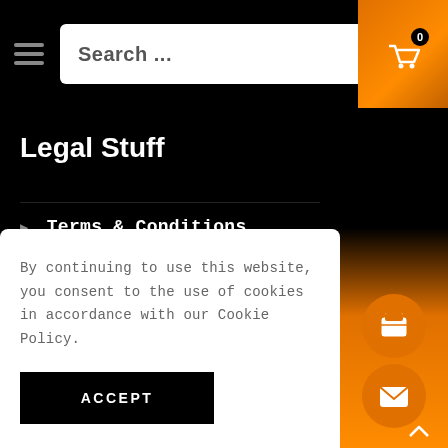Search...
Legal Stuff
Terms & Conditions
Privacy Policy
Postage Policy
By continuing to use this website, you consent to the use of cookies in accordance with our Cookie Policy.
ACCEPT